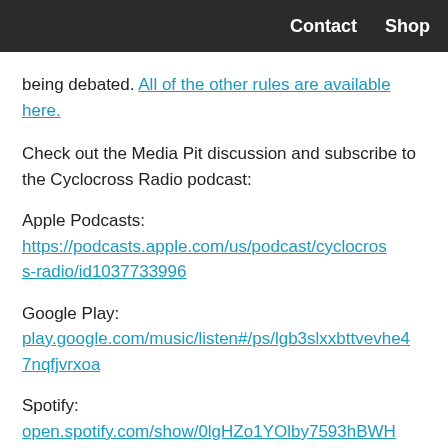Contact   Shop
being debated. All of the other rules are available here.
Check out the Media Pit discussion and subscribe to the Cyclocross Radio podcast:
Apple Podcasts: https://podcasts.apple.com/us/podcast/cyclocross-radio/id1037733996
Google Play: play.google.com/music/listen#/ps/lgb3slxxbttvevhe47nqfjvrxoa
Spotify: open.spotify.com/show/0lgHZo1YOlby7593hBWHbx?si=239EOTPTQsGuX_jbC9U6PQ
Direct download: http://traffic.libsyn.com/crosshairsradio/Cy_Ra...